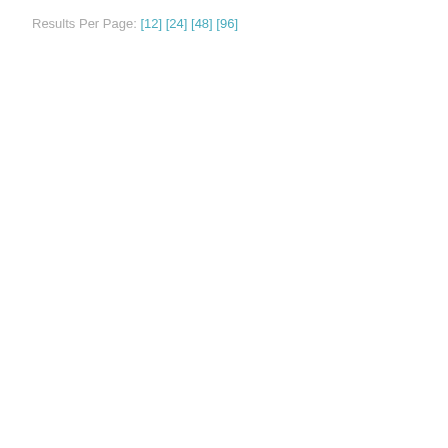Results Per Page: [12] [24] [48] [96]